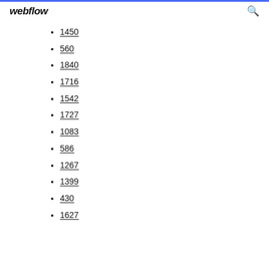webflow
1450
560
1840
1716
1542
1727
1083
586
1267
1399
430
1627